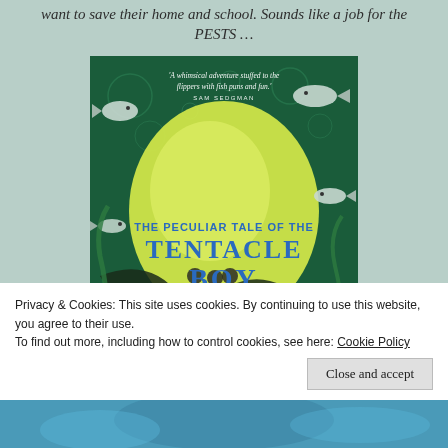want to save their home and school. Sounds like a job for the PESTS…
[Figure (illustration): Book cover of 'The Peculiar Tale of the Tentacle Boy' showing a whimsical underwater scene with fish, tentacles, and the quote 'A whimsical adventure stuffed to the flippers with fish puns and fun.' by Sam Sedgman]
Privacy & Cookies: This site uses cookies. By continuing to use this website, you agree to their use.
To find out more, including how to control cookies, see here: Cookie Policy
Close and accept